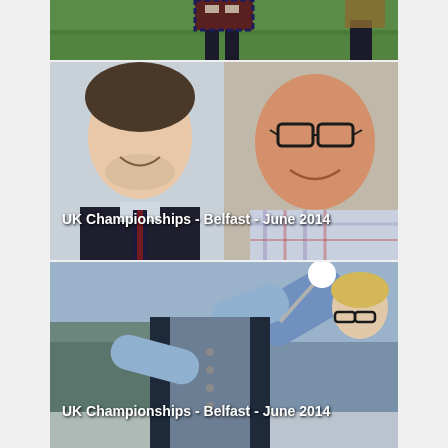[Figure (photo): Partial photo showing a person in a kilt standing on green grass, only the lower half visible]
[Figure (photo): Close-up photo of two men smiling; one younger man in dark vest and tie, one older man with glasses in a plaid shirt. Overlaid text reads: UK Championships - Belfast - June 2014]
[Figure (photo): Action photo of a person in a light blue shirt and dark vest performing a drum major move, spinning a mace baton. Overlaid text reads: UK Championships - Belfast - June 2014]